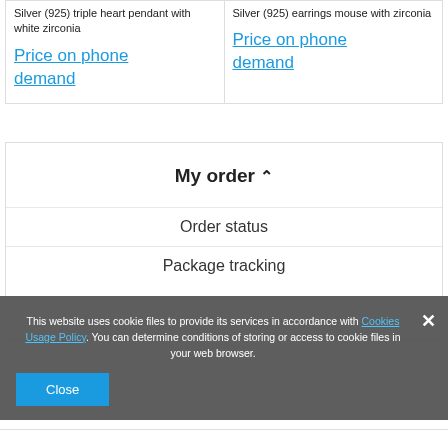Silver (925) triple heart pendant with white zirconia
Price on phone demand
Silver (925) earrings mouse with zirconia
Price on phone demand
My order ^
Order status
Package tracking
This website uses cookie files to provide its services in accordance with Cookies Usage Policy. You can determine conditions of storing or access to cookie files in your web browser.
Close